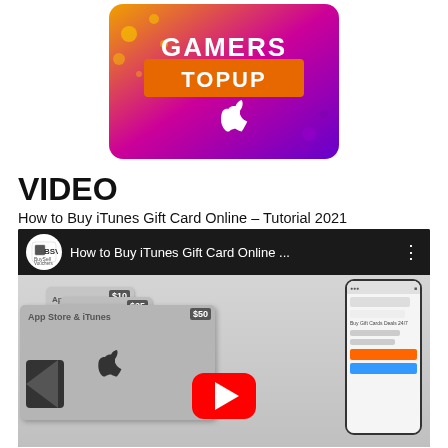[Figure (logo): Gamers TopUp logo with Apple logo on colorful pink/yellow/purple background]
VIDEO
How to Buy iTunes Gift Card Online – Tutorial 2021
[Figure (screenshot): YouTube video thumbnail for 'How to Buy iTunes Gift Card Online ...' by BuySell Vouchers, showing App Store gift cards and a mobile phone screenshot]